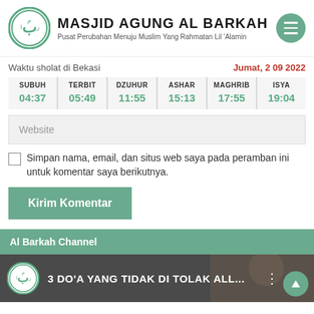MASJID AGUNG AL BARKAH - Pusat Perubahan Menuju Muslim Yang Rahmatan Lil 'Alamin
| SUBUH | TERBIT | DZUHUR | ASHAR | MAGHRIB | ISYA |
| --- | --- | --- | --- | --- | --- |
| 04:37 | 05:49 | 11:55 | 15:13 | 17:55 | 19:04 |
Waktu sholat di Bekasi
Jumat, 2 09 2022
Website
Simpan nama, email, dan situs web saya pada peramban ini untuk komentar saya berikutnya.
Kirim Komentar
Al Barkah Channel
3 DO'A YANG TIDAK DI TOLAK ALL...